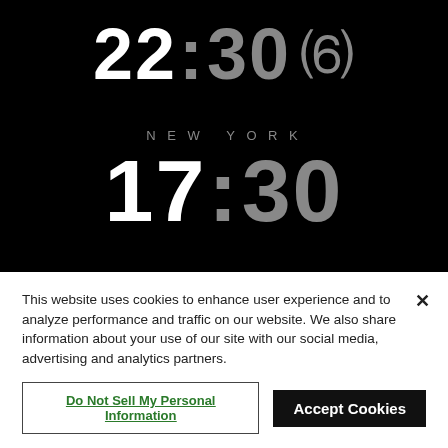[Figure (screenshot): Black background clock display showing 22:30 with a crescent moon icon]
NEW YORK
17:30
This website uses cookies to enhance user experience and to analyze performance and traffic on our website. We also share information about your use of our site with our social media, advertising and analytics partners.
Do Not Sell My Personal Information
Accept Cookies